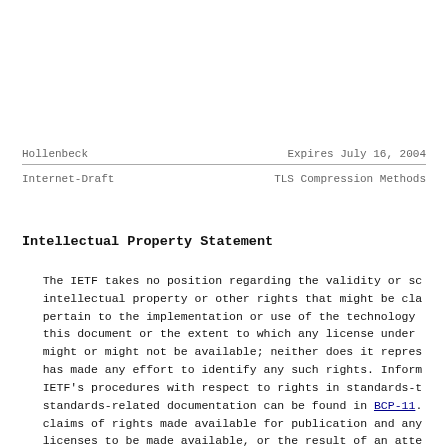Hollenbeck                     Expires July 16, 2004
Internet-Draft              TLS Compression Methods
Intellectual Property Statement
The IETF takes no position regarding the validity or sc intellectual property or other rights that might be cla pertain to the implementation or use of the technology this document or the extent to which any license under might or might not be available; neither does it repres has made any effort to identify any such rights. Inform IETF's procedures with respect to rights in standards-t standards-related documentation can be found in BCP-11. claims of rights made available for publication and any licenses to be made available, or the result of an atte obtain a general license or permission for the use of s proprietary rights by implementors or users of this spe be obtained from the IETF Secretariat.